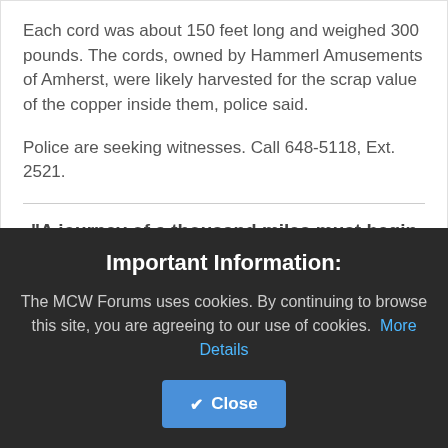Each cord was about 150 feet long and weighed 300 pounds. The cords, owned by Hammerl Amusements of Amherst, were likely harvested for the scrap value of the copper inside them, police said.
Police are seeking witnesses. Call 648-5118, Ext. 2521.
"A journey of a thousand miles must begin with a single step." - Lao-Tsu
Important Information:
The MCW Forums uses cookies. By continuing to browse this site, you are agreeing to our use of cookies. More Details Close